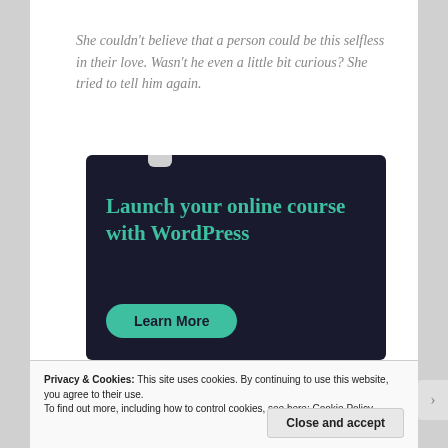She couldn't believe that a person could be this selfless in their love. Wasn't he even a little bit curious? She tried to tell him again.
[Figure (infographic): Dark navy advertisement banner with teal text reading 'Launch your online course with WordPress' and a teal 'Learn More' button]
Privacy & Cookies: This site uses cookies. By continuing to use this website, you agree to their use. To find out more, including how to control cookies, see here: Cookie Policy
Close and accept